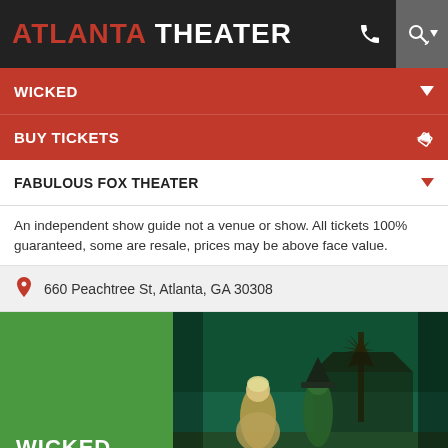ATLANTA THEATER
WICKED
BUY TICKETS
FABULOUS FOX THEATER
An independent show guide not a venue or show. All tickets 100% guaranteed, some are resale, prices may be above face value.
660 Peachtree St, Atlanta, GA 30308
[Figure (photo): Wicked musical show image: left green panel with white WICKED text, right side theatrical scene with two performers in costume against green-lit stage backdrop]
You know the drill, websites need cookies to make them work. Details of how we do it here.
Got it!